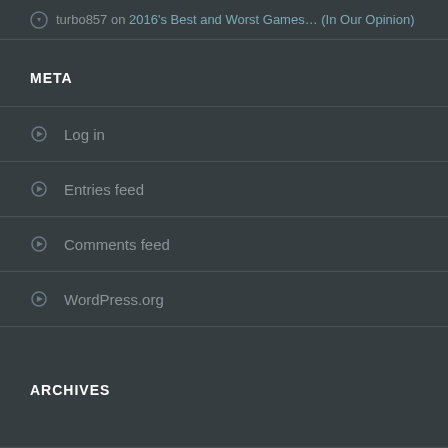turbo857 on 2016's Best and Worst Games... (In Our Opinion)
META
Log in
Entries feed
Comments feed
WordPress.org
ARCHIVES